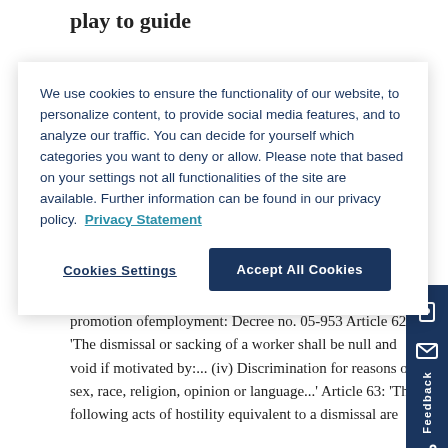play to guide
We use cookies to ensure the functionality of our website, to personalize content, to provide social media features, and to analyze our traffic. You can decide for yourself which categories you want to deny or allow. Please note that based on your settings not all functionalities of the site are available. Further information can be found in our privacy policy. Privacy Statement
Cookies Settings
Accept All Cookies
Authors: Nina Osin and Dina Porat
promotion ofemployment: Decree no. 05-953 Article 62: 'The dismissal or sacking of a worker shall be null and void if motivated by:... (iv) Discrimination for reasons of sex, race, religion, opinion or language...' Article 63: 'The following acts of hostility equivalent to a dismissal are